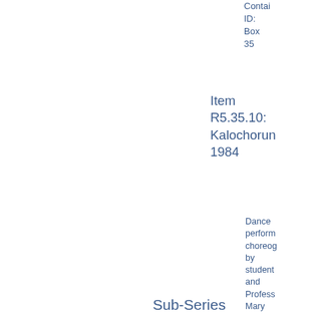Container ID: Box 35
Item R5.35.10: Kalochorun 1984
Dance performance choreographed by students and Professor Mary Easter
Additional Date Information: 1984-04-12
Container ID: Box: 35
Sub-Series